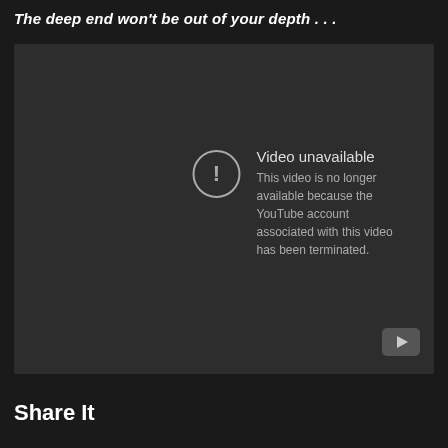The deep end won't be out of your depth . . .
[Figure (screenshot): Embedded YouTube video player showing 'Video unavailable' error message. Text reads: 'Video unavailable. This video is no longer available because the YouTube account associated with this video has been terminated.' YouTube logo icon visible in bottom-right corner.]
Share It